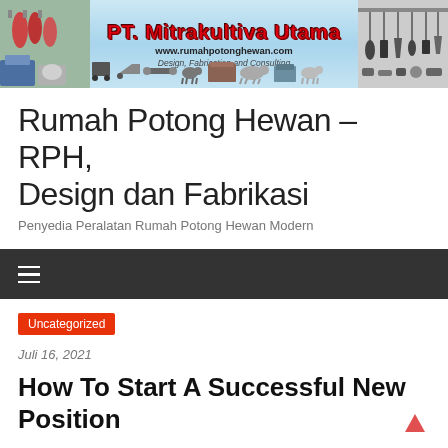[Figure (illustration): PT. Mitrakultiva Utama banner header with company logo text in red, URL www.rumahpotonghewan.com, tagline 'Design, Fabrication and Consulting', equipment images on left and right sides, and slaughterhouse equipment icons along the bottom]
Rumah Potong Hewan – RPH, Design dan Fabrikasi
Penyedia Peralatan Rumah Potong Hewan Modern
≡ (navigation menu)
Uncategorized
Juli 16, 2021
How To Start A Successful New Position